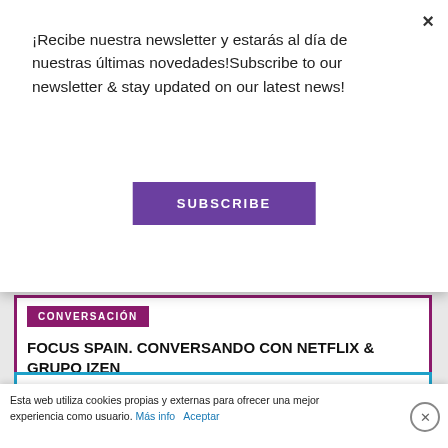¡Recibe nuestra newsletter y estarás al día de nuestras últimas novedades!Subscribe to our newsletter & stay updated on our latest news!
SUBSCRIBE
×
CONVERSACIÓN
FOCUS SPAIN. CONVERSANDO CON NETFLIX & GRUPO IZEN
+info
⊙ 12H00 – 13H00 WORKSHOP ROOM #2
Esta web utiliza cookies propias y externas para ofrecer una mejor experiencia como usuario. Más info  Aceptar